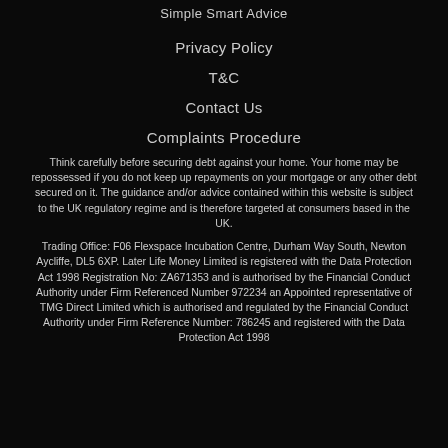Simple Smart Advice
Privacy Policy
T&C
Contact Us
Complaints Procedure
Think carefully before securing debt against your home. Your home may be repossessed if you do not keep up repayments on your mortgage or any other debt secured on it. The guidance and/or advice contained within this website is subject to the UK regulatory regime and is therefore targeted at consumers based in the UK.
Trading Office: F06 Flexspace Incubation Centre, Durham Way South, Newton Aycliffe, DL5 6XP. Later Life Money Limited is registered with the Data Protection Act 1998 Registration No: ZA671353 and is authorised by the Financial Conduct Authority under Firm Referenced Number 972234 an Appointed representative of TMG Direct Limited which is authorised and regulated by the Financial Conduct Authority under Firm Reference Number: 786245 and registered with the Data Protection Act 1998